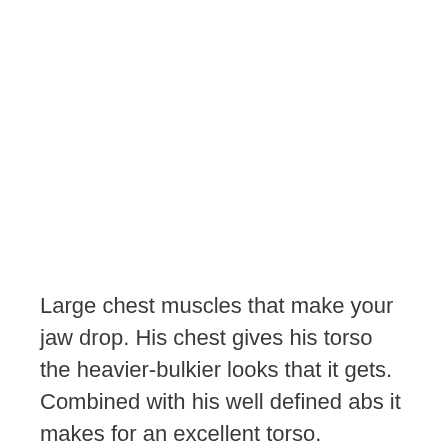Large chest muscles that make your jaw drop. His chest gives his torso the heavier-bulkier looks that it gets. Combined with his well defined abs it makes for an excellent torso.